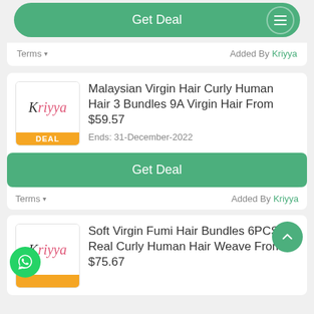Get Deal
Terms ▾   Added By Kriyya
Malaysian Virgin Hair Curly Human Hair 3 Bundles 9A Virgin Hair From $59.57
Ends: 31-December-2022
Get Deal
Terms ▾   Added By Kriyya
Soft Virgin Fumi Hair Bundles 6PCS Real Curly Human Hair Weave From $75.67